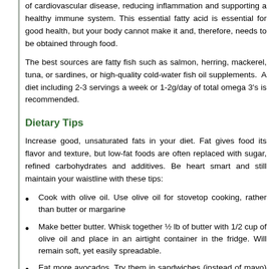of cardiovascular disease, reducing inflammation and supporting a healthy immune system. This essential fatty acid is essential for good health, but your body cannot make it and, therefore, needs to be obtained through food.
The best sources are fatty fish such as salmon, herring, mackerel, tuna, or sardines, or high-quality cold-water fish oil supplements. A diet including 2-3 servings a week or 1-2g/day of total omega 3's is recommended.
Dietary Tips
Increase good, unsaturated fats in your diet. Fat gives food its flavor and texture, but low-fat foods are often replaced with sugar, refined carbohydrates and additives. Be heart smart and still maintain your waistline with these tips:
Cook with olive oil. Use olive oil for stovetop cooking, rather than butter or margarine
Make better butter. Whisk together ½ lb of butter with 1/2 cup of olive oil and place in an airtight container in the fridge. Will remain soft, yet easily spreadable.
Eat more avocados. Try them in sandwiches (instead of mayo) or salads, or make guacamole.
Reach for the nuts. High in protein and good fats. Opt for the raw or dry roasted as you'll lose some oils in the roasting process.
Snack on olives. Olives are high in healthy monounsaturated fats...